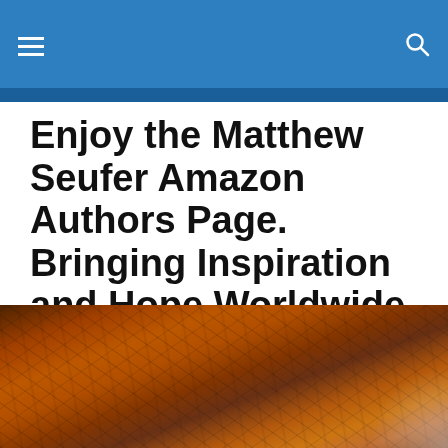≡  🔍
Enjoy the Matthew Seufer Amazon Authors Page. Bringing Inspiration and Hope Worldwide in 2022.
Celebrating Independence Day! July 04,2022 Matthew C Seufer – Christian Artist 2022
[Figure (photo): Close-up photograph of a textured orange and dark brown rocky or geological surface, possibly a landscape or macro nature shot.]